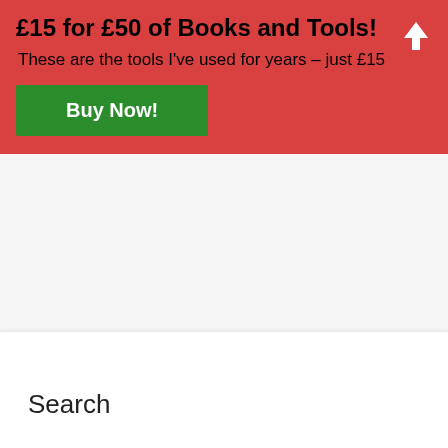£15 for £50 of Books and Tools!
These are the tools I've used for years – just £15
Buy Now!
Search